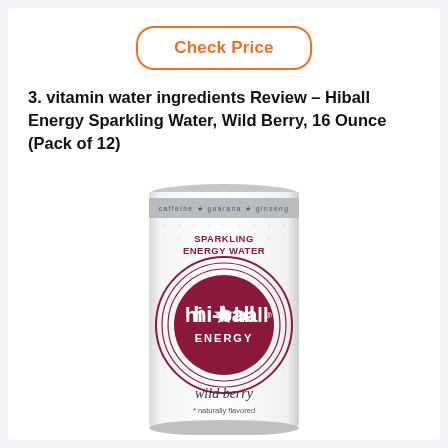[Figure (other): Orange-bordered 'Check Price' button]
3. vitamin water ingredients Review – Hiball Energy Sparkling Water, Wild Berry, 16 Ounce (Pack of 12)
[Figure (photo): Photo of Hiball Energy Sparkling Water Wild Berry can, white with dotted texture, showing 'SPARKLING ENERGY WATER' text at top, large circular dark red logo with 'hi-ball ENERGY' text and a star, 'wild berry' and 'naturally flavored' text at bottom, silver top rim with 'caffeine guarana ginseng' text]